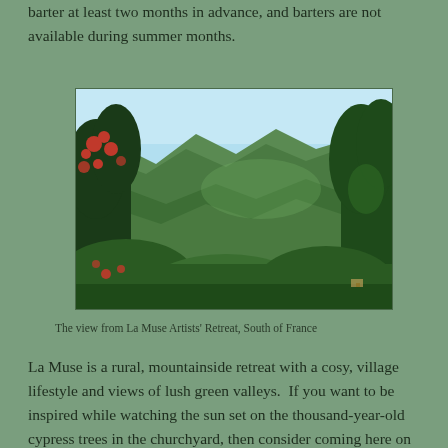barter at least two months in advance, and barters are not available during summer months.
[Figure (photo): Landscape photograph showing a valley view from La Muse Artists' Retreat in South of France. Lush green forested hillsides and mountains visible, with a bright blue sky. Red flowering trees/shrubs visible in the foreground left.]
The view from La Muse Artists' Retreat, South of France
La Muse is a rural, mountainside retreat with a cosy, village lifestyle and views of lush green valleys.  If you want to be inspired while watching the sun set on the thousand-year-old cypress trees in the churchyard, then consider coming here on retreat.